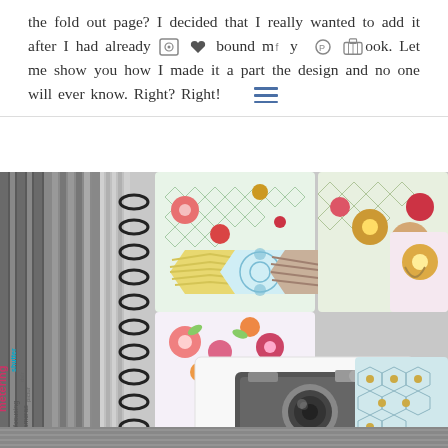the fold out page? I decided that I really wanted to add it after I had already bound my minibook. Let me show you how I made it a part the design and no one will ever know. Right? Right!
[Figure (photo): A spiral-bound scrapbook mini book with colorful patterned pages fanned out, showing floral, geometric, chevron, and polka dot patterns. The spine has text including 'metering', 'focusing', 'camera'. The bottom page features a vintage camera illustration on white background.]